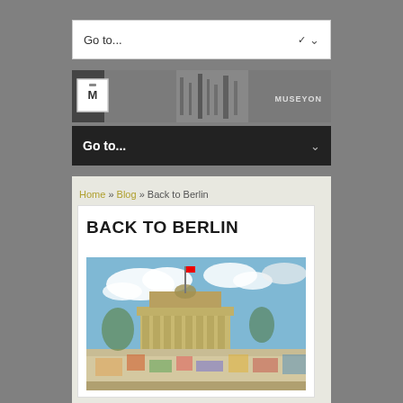Go to...
[Figure (photo): Museyon publisher banner with logo and grayscale photo collage of city/monuments]
Go to...
Home » Blog » Back to Berlin
BACK TO BERLIN
[Figure (photo): Photograph of the Berlin Wall with graffiti and Brandenburg Gate visible in background under blue sky with clouds]